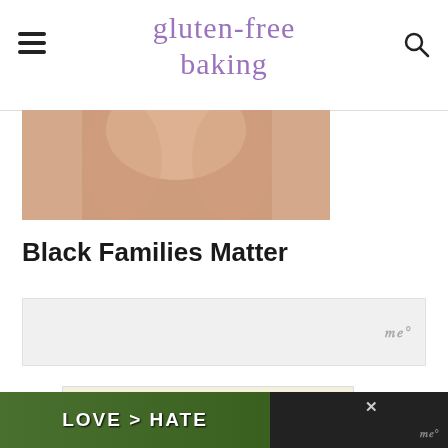gluten-free baking
[Figure (photo): Partial view of a baby or person, cropped, warm skin tones]
Black Families Matter
[Figure (other): Advertisement placeholder with Mediavine logo (ww°)]
[Figure (other): Advertisement banner with colorful heart emojis on cream background, with close button]
[Figure (other): Bottom sticky banner ad: hands forming heart shape, text LOVE > HATE, green background, with close X and Mediavine logo]